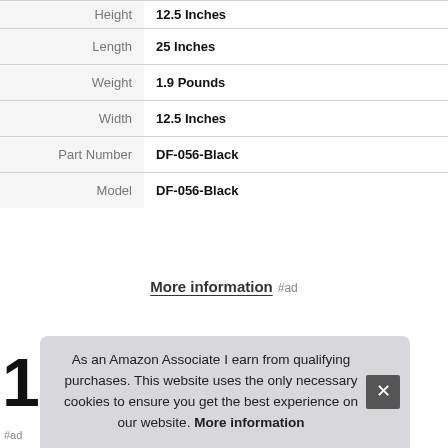| Attribute | Value |
| --- | --- |
| Height | 12.5 Inches |
| Length | 25 Inches |
| Weight | 1.9 Pounds |
| Width | 12.5 Inches |
| Part Number | DF-056-Black |
| Model | DF-056-Black |
More information #ad
10
#ad
As an Amazon Associate I earn from qualifying purchases. This website uses the only necessary cookies to ensure you get the best experience on our website. More information